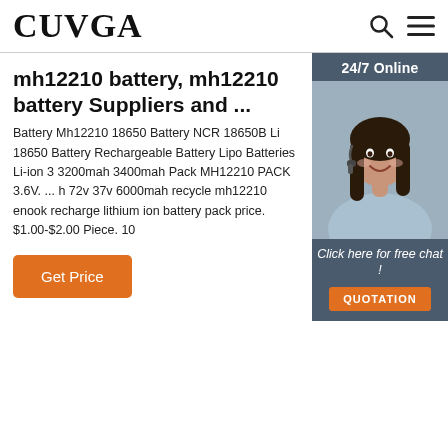CUVGA
mh12210 battery, mh12210 battery Suppliers and ...
Battery Mh12210 18650 Battery NCR 18650B Li 18650 Battery Rechargeable Battery Lipo Batteries Li-ion 3 3200mah 3400mah Pack MH12210 PACK 3.6V. ... h 72v 37v 6000mah recycle mh12210 enook recharge lithium ion battery pack price. $1.00-$2.00 Piece. 10
[Figure (photo): Customer service representative woman with headset smiling, used in a 24/7 online chat widget on sidebar]
Click here for free chat !